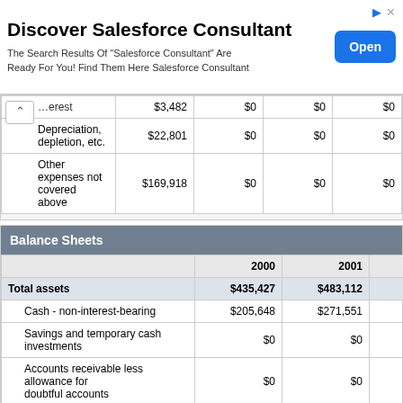[Figure (other): Advertisement banner: Discover Salesforce Consultant. The Search Results Of 'Salesforce Consultant' Are Ready For You! Find Them Here Salesforce Consultant. Open button.]
|  |  |  |  |  |
| --- | --- | --- | --- | --- |
| ...erest | $3,482 | $0 | $0 | $0 |
| Depreciation, depletion, etc. | $22,801 | $0 | $0 | $0 |
| Other expenses not covered above | $169,918 | $0 | $0 | $0 |
| Balance Sheets |  |  |  |
| --- | --- | --- | --- |
|  | 2000 | 2001 | 2002 |
| Total assets | $435,427 | $483,112 | $638,837 |
| Cash - non-interest-bearing | $205,648 | $271,551 | $448,129 |
| Savings and temporary cash investments | $0 | $0 | $0 |
| Accounts receivable less allowance for doubtful accounts | $0 | $0 | $0 |
| Pledges receivable less allowance for doubtful accounts | $0 | $0 | $0 |